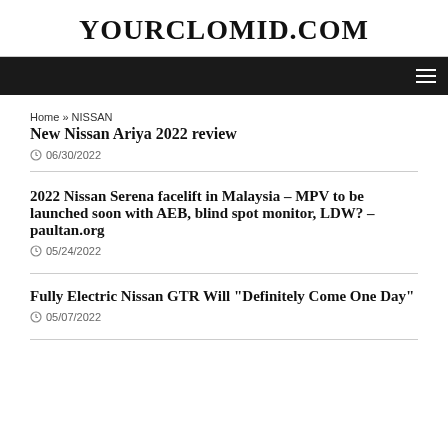YOURCLOMID.COM
Home » NISSAN
New Nissan Ariya 2022 review
06/30/2022
2022 Nissan Serena facelift in Malaysia – MPV to be launched soon with AEB, blind spot monitor, LDW? – paultan.org
05/24/2022
Fully Electric Nissan GTR Will "Definitely Come One Day"
05/07/2022